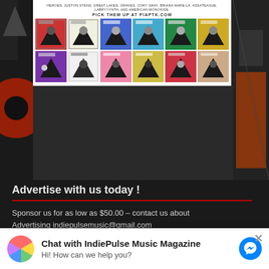[Figure (illustration): Grid of music album covers from PIAPTK.COM with tagline text about artists including Heroes, Juston Stens, Great Lakes, Graves, Cory Gray, Briana Marela, Assateague, Labryyynth, and American Monoxide. Two rows of 6 album thumbnails each.]
Advertise with us today !
Sponsor us for as low as $50.00 – contact us about Advertising indiepulsemusic@gmail.com
Archives
Select Month
Chat with IndiePulse Music Magazine
Hi! How can we help you?